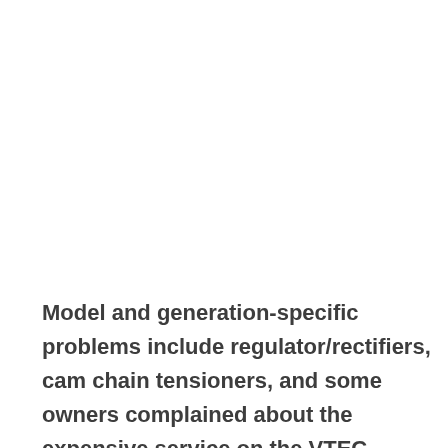Model and generation-specific problems include regulator/rectifiers, cam chain tensioners, and some owners complained about the expensive service on the VTEC models. Electrical system recalls were reported for the 2002-2005 models, as well as brake/hydraulic systems for the years 2002-2004, which we will cover in this article.